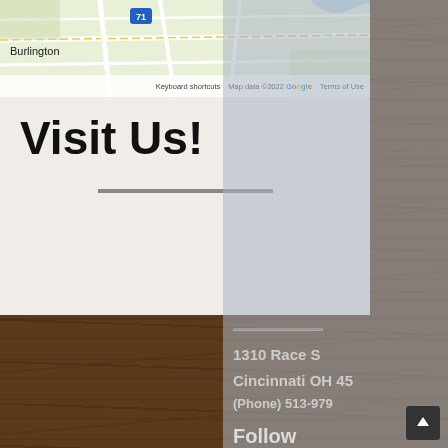[Figure (map): Google Maps screenshot showing Burlington area with road network, partial interstate 71 visible, Google logo, keyboard shortcuts and map data credits]
Visit Us!
1310 Race S[t]
Cincinnati OH 45[...]
(Phone) 513-979[...]
Follow
[Figure (infographic): Social media icons: Facebook (f) and Twitter (bird) circular buttons]